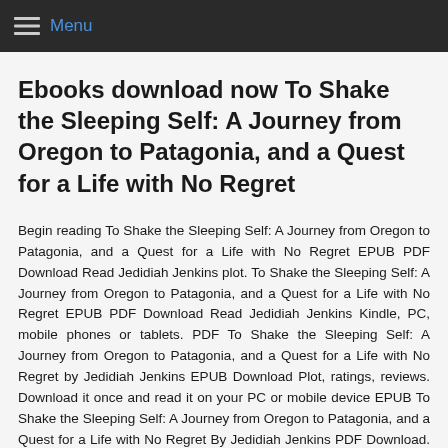Menu
Ebooks download now To Shake the Sleeping Self: A Journey from Oregon to Patagonia, and a Quest for a Life with No Regret
Begin reading To Shake the Sleeping Self: A Journey from Oregon to Patagonia, and a Quest for a Life with No Regret EPUB PDF Download Read Jedidiah Jenkins plot. To Shake the Sleeping Self: A Journey from Oregon to Patagonia, and a Quest for a Life with No Regret EPUB PDF Download Read Jedidiah Jenkins Kindle, PC, mobile phones or tablets. PDF To Shake the Sleeping Self: A Journey from Oregon to Patagonia, and a Quest for a Life with No Regret by Jedidiah Jenkins EPUB Download Plot, ratings, reviews. Download it once and read it on your PC or mobile device EPUB To Shake the Sleeping Self: A Journey from Oregon to Patagonia, and a Quest for a Life with No Regret By Jedidiah Jenkins PDF Download. Share link here and get free ebooks to read online. Facebook share full length digital edition PDF To Shake the Sleeping Self: A Journey from Oregon to Patagonia, and a Quest for a Life